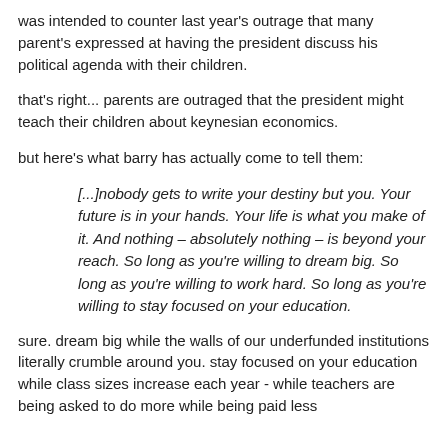was intended to counter last year's outrage that many parent's expressed at having the president discuss his political agenda with their children.
that's right... parents are outraged that the president might teach their children about keynesian economics.
but here's what barry has actually come to tell them:
[...]nobody gets to write your destiny but you. Your future is in your hands. Your life is what you make of it. And nothing – absolutely nothing – is beyond your reach. So long as you're willing to dream big. So long as you're willing to work hard. So long as you're willing to stay focused on your education.
sure. dream big while the walls of our underfunded institutions literally crumble around you. stay focused on your education while class sizes increase each year - while teachers are being asked to do more while being paid less.